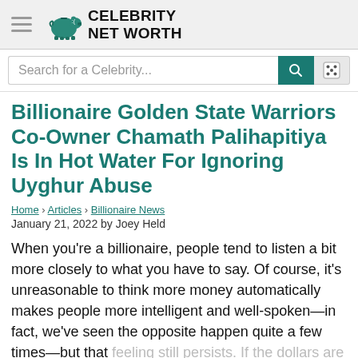Celebrity Net Worth
Search for a Celebrity...
Billionaire Golden State Warriors Co-Owner Chamath Palihapitiya Is In Hot Water For Ignoring Uyghur Abuse
Home › Articles › Billionaire News
January 21, 2022 by Joey Held
When you're a billionaire, people tend to listen a bit more closely to what you have to say. Of course, it's unreasonable to think more money automatically makes people more intelligent and well-spoken—in fact, we've seen the opposite happen quite a few times—but that feeling still persists. If the dollars are there, so is the audience.